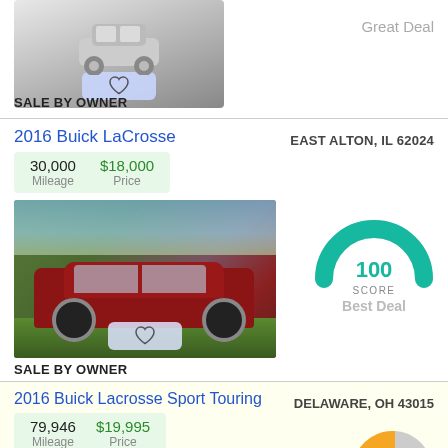[Figure (photo): Top of page - car image placeholder with heart button, partially cropped]
Great Deal
SALE BY OWNER
2016 Buick LaCrosse
| Mileage | Price |
| --- | --- |
| 30,000 | $18,000 |
[Figure (photo): 2016 Buick LaCrosse dark red sedan parked on grass near water]
EAST ALTON, IL 62024
[Figure (donut-chart): Semicircular gauge showing score of 100 in teal/green]
100
SCORE
Best Deal
SALE BY OWNER
2016 Buick Lacrosse Sport Touring
| Mileage | Price |
| --- | --- |
| 79,946 | $19,995 |
DELAWARE, OH 43015
[Figure (pie-chart): Partial pie chart visible at bottom right, orange and gray segments]